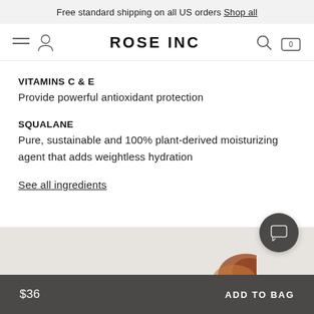Free standard shipping on all US orders Shop all
ROSE INC
VITAMINS C & E
Provide powerful antioxidant protection
SQUALANE
Pure, sustainable and 100% plant-derived moisturizing agent that adds weightless hydration
See all ingredients
$36
ADD TO BAG